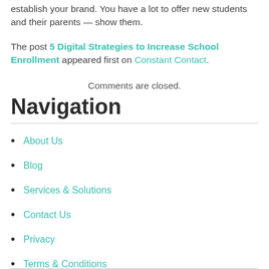establish your brand. You have a lot to offer new students and their parents — show them.
The post 5 Digital Strategies to Increase School Enrollment appeared first on Constant Contact.
Comments are closed.
Navigation
About Us
Blog
Services & Solutions
Contact Us
Privacy
Terms & Conditions